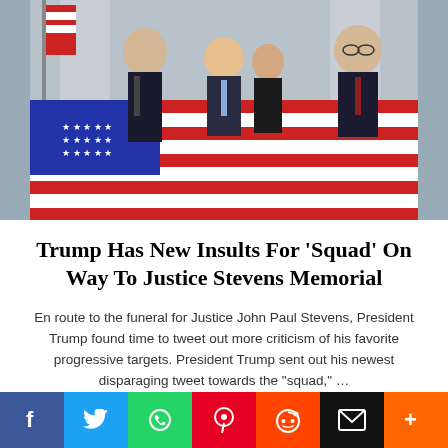[Figure (photo): Three people standing behind a flag-draped casket at a memorial ceremony. An American flag is prominently displayed. The scene appears to be at the Justice Stevens memorial.]
Trump Has New Insults For ‘Squad’ On Way To Justice Stevens Memorial
En route to the funeral for Justice John Paul Stevens, President Trump found time to tweet out more criticism of his favorite progressive targets. President Trump sent out his newest disparaging tweet towards the “squad,” …
[Figure (photo): Partial photo of a person, cropped at bottom of page, appears to show someone at a political rally.]